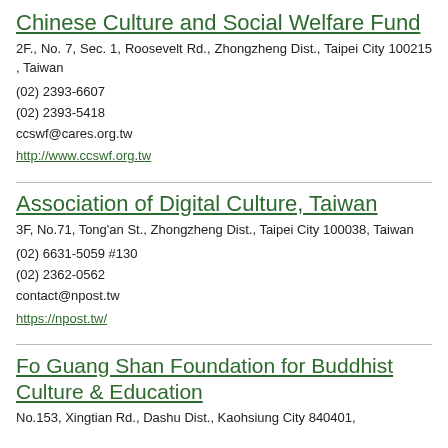Chinese Culture and Social Welfare Fund
2F., No. 7, Sec. 1, Roosevelt Rd., Zhongzheng Dist., Taipei City 100215 , Taiwan
(02) 2393-6607
(02) 2393-5418
ccswf@cares.org.tw
http://www.ccswf.org.tw
Association of Digital Culture, Taiwan
3F, No.71, Tong'an St., Zhongzheng Dist., Taipei City 100038, Taiwan
(02) 6631-5059 #130
(02) 2362-0562
contact@npost.tw
https://npost.tw/
Fo Guang Shan Foundation for Buddhist Culture & Education
No.153, Xingtian Rd., Dashu Dist., Kaohsiung City 840401,